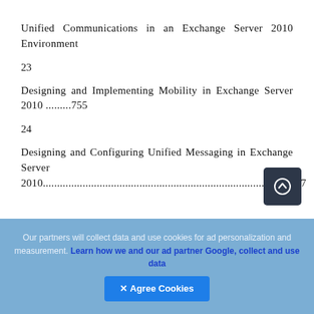Unified Communications in an Exchange Server 2010 Environment
23
Designing and Implementing Mobility in Exchange Server 2010 .........755
24
Designing and Configuring Unified Messaging in Exchange Server 2010.......................................................................................777
Our partners will collect data and use cookies for ad personalization and measurement. Learn how we and our ad partner Google, collect and use data  ✕ Agree Cookies